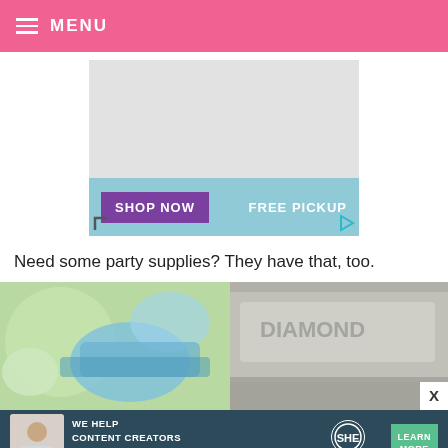☰ MENU
[Figure (screenshot): Advertisement banner showing 'SHOP NOW' button in purple on teal background with 'FREE PICKUP' text]
Need some party supplies? They have that, too.
[Figure (photo): Close-up photo of party supplies in plastic packaging, green and blue items visible]
[Figure (screenshot): SHE Partner Network advertisement: 'We help content creators grow businesses through...' with Learn More button]